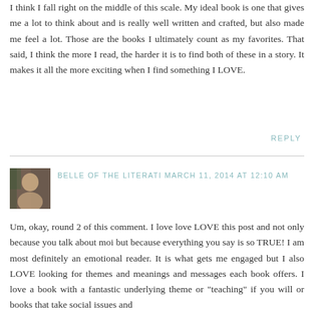I think I fall right on the middle of this scale. My ideal book is one that gives me a lot to think about and is really well written and crafted, but also made me feel a lot. Those are the books I ultimately count as my favorites. That said, I think the more I read, the harder it is to find both of these in a story. It makes it all the more exciting when I find something I LOVE.
REPLY
BELLE OF THE LITERATI MARCH 11, 2014 AT 12:10 AM
Um, okay, round 2 of this comment. I love love LOVE this post and not only because you talk about moi but because everything you say is so TRUE! I am most definitely an emotional reader. It is what gets me engaged but I also LOVE looking for themes and meanings and messages each book offers. I love a book with a fantastic underlying theme or "teaching" if you will or books that take social issues and